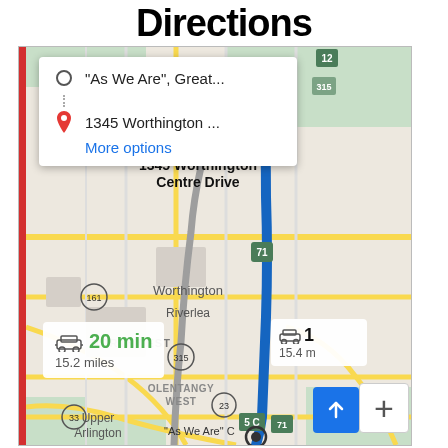Directions
[Figure (map): Google Maps screenshot showing driving directions from 'As We Are' Great... to 1345 Worthington Centre Drive. Blue route runs north along a highway (I-71). A gray alternate route curves to the left. Duration overlay shows 20 min, 15.2 miles. Alternate route shows 15.4 miles. Map labels include Worthington, Riverlea, Northwest, Olentangy West, Upper Arlington, route markers 161, 315, 23, 71, 5C, 33.]
"As We Are", Great...
1345 Worthington ...
More options
1345 Worthington Centre Drive
20 min
15.2 miles
15.4 m